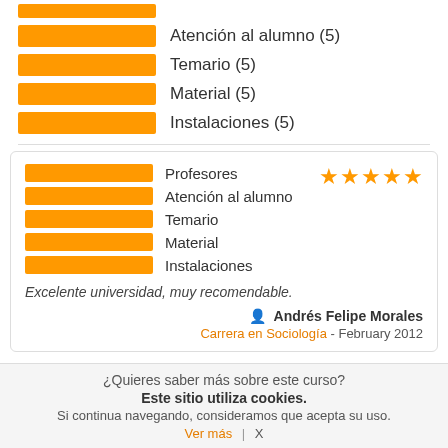[Figure (infographic): Orange horizontal rating bars for: Atención al alumno (5), Temario (5), Material (5), Instalaciones (5)]
[Figure (infographic): Review card with orange bars for Profesores, Atención al alumno, Temario, Material, Instalaciones, 5 star rating, review text and reviewer info]
Excelente universidad, muy recomendable.
Andrés Felipe Morales
Carrera en Sociología - February 2012
¿Quieres saber más sobre este curso?
Este sitio utiliza cookies.
Si continua navegando, consideramos que acepta su uso.
Ver más | X